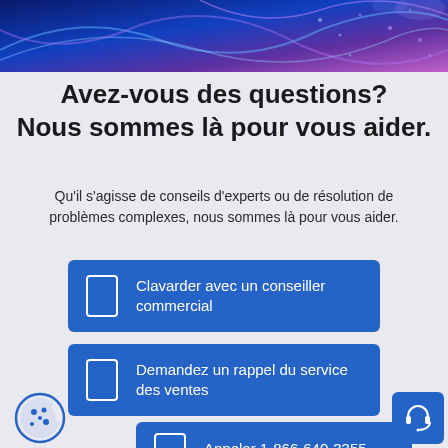[Figure (illustration): Abstract blue and purple wave/network background header image]
Avez-vous des questions?
Nous sommes là pour vous aider.
Qu'il s'agisse de conseils d'experts ou de résolution de problèmes complexes, nous sommes là pour vous aider.
Clavarder avec un conseiller commercial
Demandez un rappel du service des ventes
Appeler 1-866-640-3355